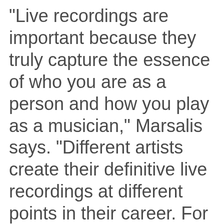"Live recordings are important because they truly capture the essence of who you are as a person and how you play as a musician," Marsalis says. "Different artists create their definitive live recordings at different points in their career. For example, my brother Branford was 31 when he recorded Bloomington. Wynton was 42 when he was finally captured on Live at the House of Tribes. This is my equivalent to those recordings; it gives the listener a true understanding of who I am, how my shows are structured."